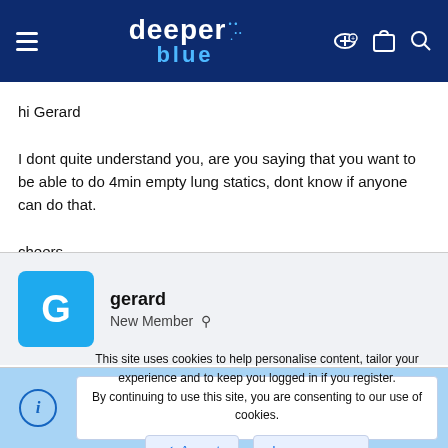[Figure (logo): DeeperBlue website header with logo, hamburger menu, and icons]
hi Gerard

I dont quite understand you, are you saying that you want to be able to do 4min empty lung statics, dont know if anyone can do that.

cheers
gerard
New Member
This site uses cookies to help personalise content, tailor your experience and to keep you logged in if you register.
By continuing to use this site, you are consenting to our use of cookies.